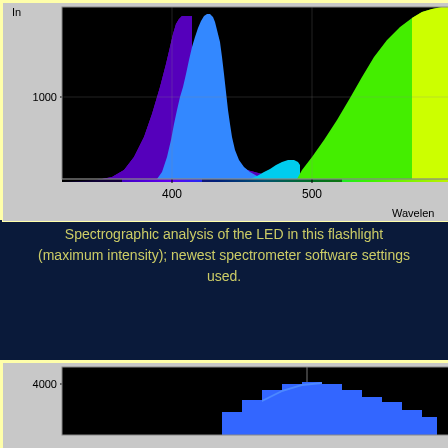[Figure (continuous-plot): Spectrographic plot showing LED spectrum with peaks around 400-450nm (blue/violet) and broad emission from 500nm onward (green to yellow). Black background with colorful spectral fill. Y-axis shows intensity up to ~1000, X-axis shows wavelength with labels at 400 and 500.]
Spectrographic analysis of the LED in this flashlight (maximum intensity); newest spectrometer software settings used.
[Figure (continuous-plot): Second spectrographic plot showing LED spectrum with a flat-top blue bar chart style profile centered around 500-550nm range. Y-axis label shows 4000. Black background with blue fill.]